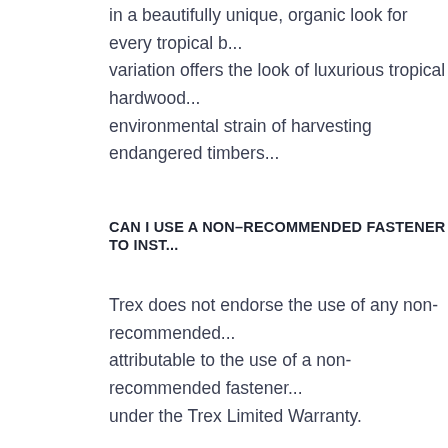in a beautifully unique, organic look for every tropical b... variation offers the look of luxurious tropical hardwood... environmental strain of harvesting endangered timbers...
CAN I USE A NON-RECOMMENDED FASTENER TO INST...
Trex does not endorse the use of any non-recommended... attributable to the use of a non-recommended fastener... under the Trex Limited Warranty.
CARE & CLEANING
CAN TREX DECKING BE SANDED OR POWER WASHED...
Trex should never be sanded. Sanding will change the a... Trex material and will void the warranty with respect to...